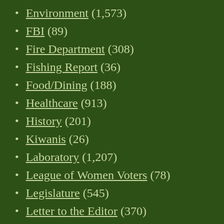Environment (1,573)
FBI (89)
Fire Department (308)
Fishing Report (36)
Food/Dining (188)
Healthcare (913)
History (201)
Kiwanis (26)
Laboratory (1,207)
League of Women Voters (78)
Legislature (545)
Letter to the Editor (370)
Los Alamos County (2,884)
Los Alamos Public Schools (1,064)
Military (100)
Nation (165)
New Mexico State Police (184)